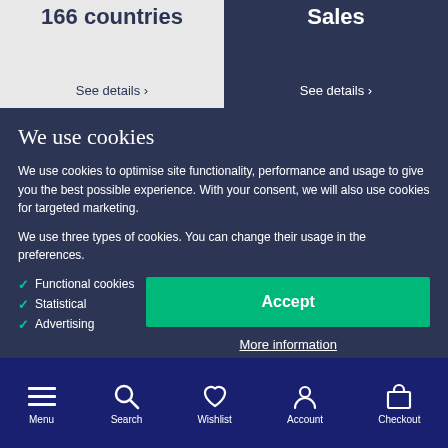166 countries
See details ›
Sales
See details ›
We use cookies
We use cookies to optimise site functionality, performance and usage to give you the best possible experience. With your consent, we will also use cookies for targeted marketing.
We use three types of cookies. You can change their usage in the preferences.
✓ Functional cookies
✓ Statistical
✓ Advertising
Accept
More information
Menu  Search  Wishlist  Account  Checkout